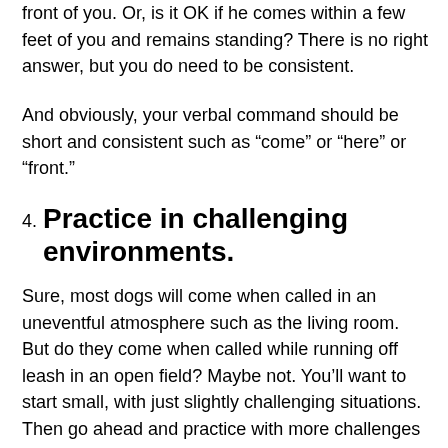front of you. Or, is it OK if he comes within a few feet of you and remains standing? There is no right answer, but you do need to be consistent.
And obviously, your verbal command should be short and consistent such as “come” or “here” or “front.”
4. Practice in challenging environments.
Sure, most dogs will come when called in an uneventful atmosphere such as the living room. But do they come when called while running off leash in an open field? Maybe not. You’ll want to start small, with just slightly challenging situations. Then go ahead and practice with more challenges as your dog is successful. A 50-foot rope is a great tool for outdoor training. Just wear gloves or you could get some serious rope burn. And make sure to browse our